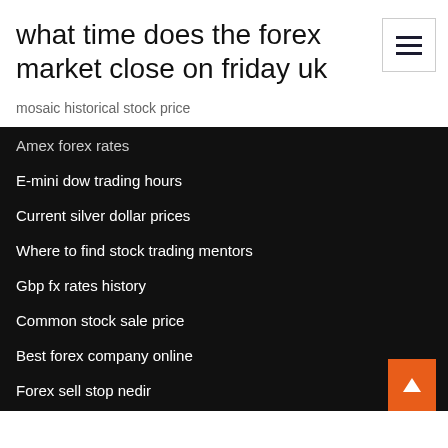what time does the forex market close on friday uk
mosaic historical stock price
Amex forex rates
E-mini dow trading hours
Current silver dollar prices
Where to find stock trading mentors
Gbp fx rates history
Common stock sale price
Best forex company online
Forex sell stop nedir
Crs stock sizes